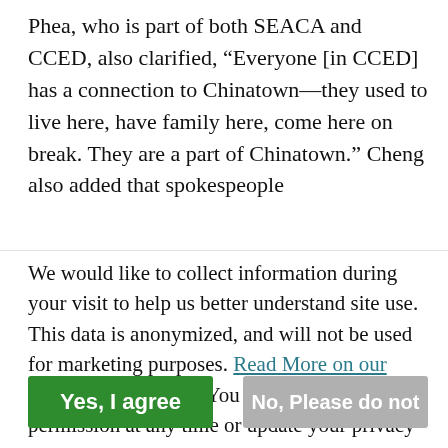Phea, who is part of both SEACA and CCED, also clarified, “Everyone [in CCED] has a connection to Chinatown—they used to live here, have family here, come here on break. They are a part of Chinatown.” Cheng also added that spokespeople like Connie Yue have a living in Chinatown. H…
We would like to collect information during your visit to help us better understand site use. This data is anonymized, and will not be used for marketing purposes. Read More on our Privacy Policy page. You can withdraw permission at any time or update your privacy settings here. Please choose below to continue.